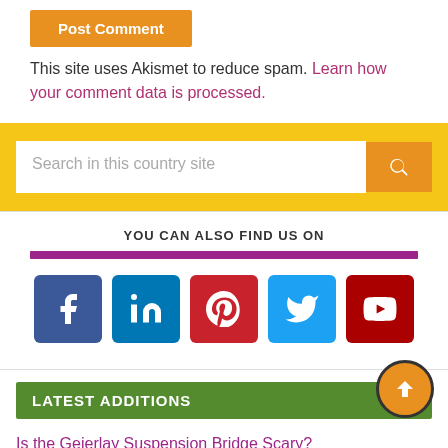Post Comment
This site uses Akismet to reduce spam. Learn how your comment data is processed.
[Figure (screenshot): Search bar with orange search button on yellow background]
YOU CAN ALSO FIND US ON
[Figure (infographic): Social media icons: Facebook, LinkedIn, Pinterest, Twitter, YouTube]
LATEST ADDITIONS
Is the Geierlay Suspension Bridge Scary?
On the Winner's Podium at Hockenheimring